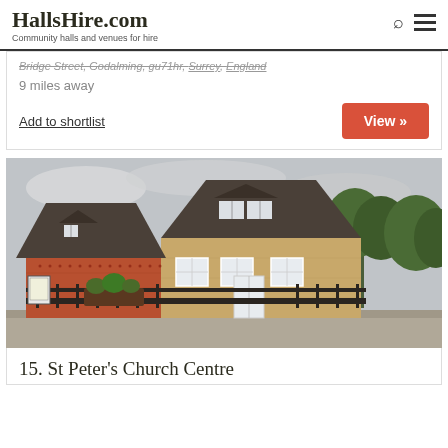HallsHire.com — Community halls and venues for hire
Bridge Street, Godalming, GU7 1HY, Surrey, England
9 miles away
Add to shortlist
View »
[Figure (photo): Exterior photo of a red brick and stone building with a dark tiled roof, dormer windows, white-framed windows, and an iron fence in front with some plants. Trees visible in the background under a cloudy sky.]
15. St Peter's Church Centre